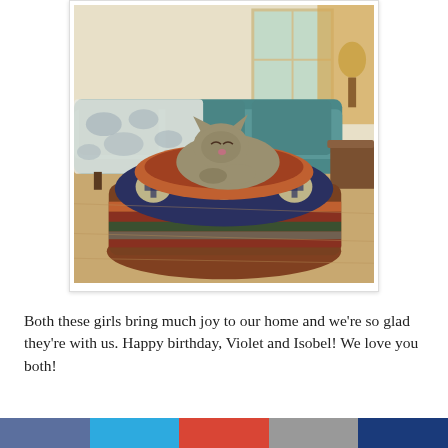[Figure (photo): A tabby cat curled up and resting inside a round, colorful patterned ottoman/cat bed with Southwestern/Aztec design in navy, cream, orange, red, and green stripes. Behind it is a teal sofa with a decorative elephant-print throw blanket, wooden floor, and a window with curtains in the background.]
Both these girls bring much joy to our home and we're so glad they're with us. Happy birthday, Violet and Isobel! We love you both!